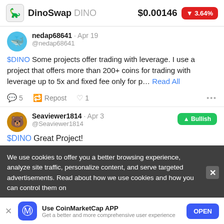DinoSwap DINO  $0.00146  ▼3.64%
nedap68641 · Apr 19 @nedap68641
$DINO Some projects offer trading with leverage. I use a project that offers more than 200+ coins for trading with leverage up to 5x and fixed fee only for p... Read All
💬 5   🔁 Repost   ♡ 1   •••
Seaviewer1814 · Apr 3  Bullish @Seaviewer1814
$DINO Great Project!
We use cookies to offer you a better browsing experience, analyze site traffic, personalize content, and serve targeted advertisements. Read about how we use cookies and how you can control them on
Use CoinMarketCap APP  Get a better and more comprehensive user experience  OPEN